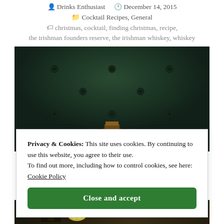Drinks Enthusiast   December 14, 2015
Cocktail Recipes, General
christmas, cocktail, finding christmas, recipe, the irishman founders reserve, the irishman whiskey, whiskey
[Figure (photo): Dark green tufted leather background with a bottle of whiskey visible at the bottom center]
Privacy & Cookies: This site uses cookies. By continuing to use this website, you agree to their use.
To find out more, including how to control cookies, see here: Cookie Policy
Close and accept
[Figure (photo): Bottom strip showing THE Irishman whiskey bottle and a lemon/citrus garnish on a dark background]